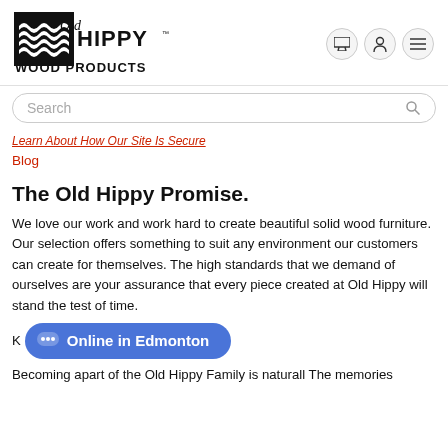[Figure (logo): Old Hippy Wood Products logo — black square with white wave pattern, cursive 'Old' text, bold 'HIPPY WOOD PRODUCTS' text]
Search
Learn About How Our Site Is Secure
Blog
The Old Hippy Promise.
We love our work and work hard to create beautiful solid wood furniture. Our selection offers something to suit any environment our customers can create for themselves. The high standards that we demand of ourselves are your assurance that every piece created at Old Hippy will stand the test of time.
[Figure (other): Blue chat button with speech bubble dots icon and text 'Online in Edmonton']
K
Becoming apart of the Old Hippy Family is naturall The memories